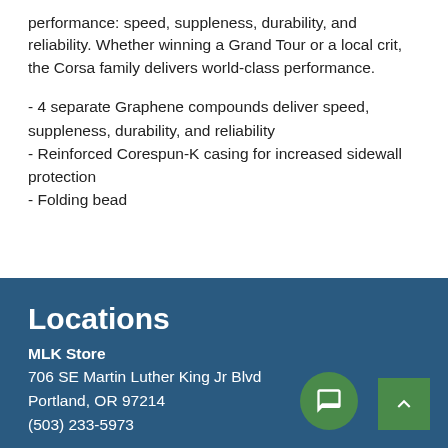performance: speed, suppleness, durability, and reliability. Whether winning a Grand Tour or a local crit, the Corsa family delivers world-class performance.
- 4 separate Graphene compounds deliver speed, suppleness, durability, and reliability
- Reinforced Corespun-K casing for increased sidewall protection
- Folding bead
Locations
MLK Store
706 SE Martin Luther King Jr Blvd
Portland, OR 97214
(503) 233-5973